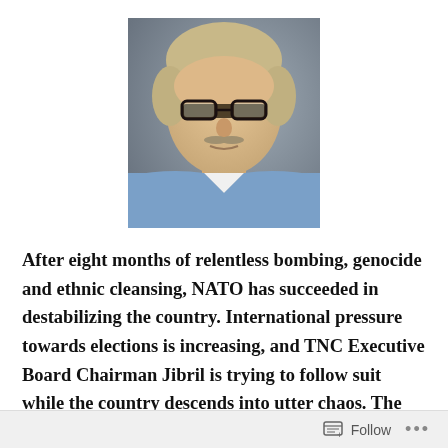[Figure (photo): Portrait photo of an older man with blonde/grey hair, glasses, and a blue striped shirt, against a grey background]
After eight months of relentless bombing, genocide and ethnic cleansing, NATO has succeeded in destabilizing the country. International pressure towards elections is increasing, and TNC Executive Board Chairman Jibril is trying to follow suit while the country descends into utter chaos. The genocide on black Libyans, Tuareg and Tawergha continues; so does the resistance. The NATO model for democracy